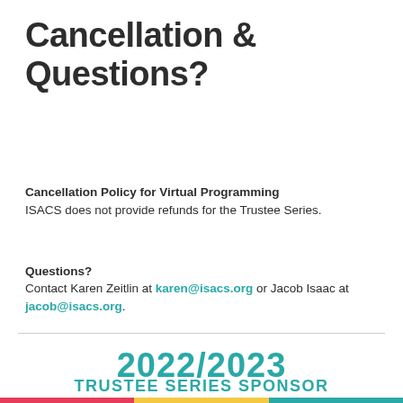Cancellation & Questions?
Cancellation Policy for Virtual Programming
ISACS does not provide refunds for the Trustee Series.
Questions?
Contact Karen Zeitlin at karen@isacs.org or Jacob Isaac at jacob@isacs.org.
2022/2023
TRUSTEE SERIES SPONSOR